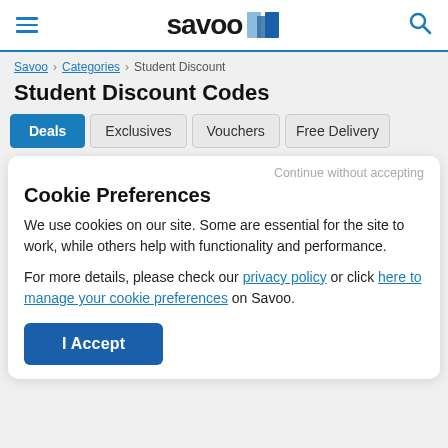savoo [logo] [hamburger menu] [search icon]
Savoo > Categories > Student Discount
Student Discount Codes
Deals | Exclusives | Vouchers | Free Delivery
Continue without accepting
Cookie Preferences
We use cookies on our site. Some are essential for the site to work, while others help with functionality and performance.
For more details, please check our privacy policy or click here to manage your cookie preferences on Savoo.
I Accept